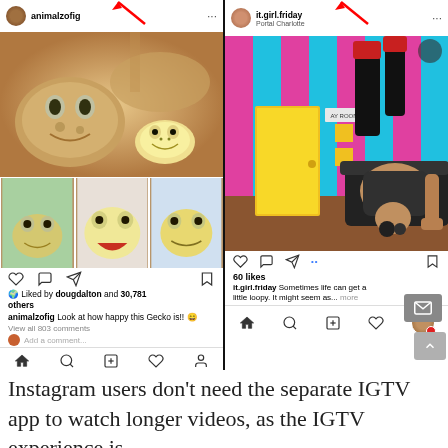[Figure (screenshot): Two Instagram app screenshots side by side. Left: @animalzofig showing gecko lizard photos, red arrow pointing to profile area, liked by dougdalton and 30,781 others, caption 'Look at how happy this Gecko is!! 😄', 'View all 803 comments'. Right: @it.girl.friday Portal Charlotte showing colorful room photo with person, 60 likes, caption 'Sometimes life can get a little loopy. It might seem as... more'. Both panels show Instagram UI with nav icons.]
Instagram users don't need the separate IGTV app to watch longer videos, as the IGTV experience is